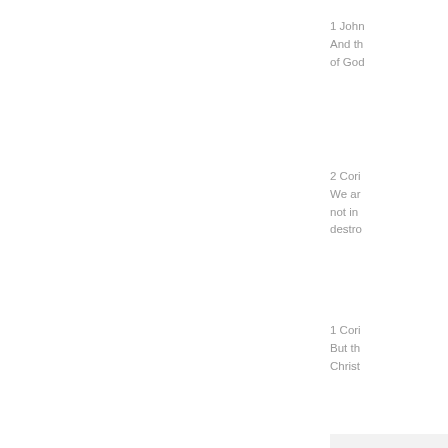1 John
And th
of God
2 Cori
We ar
not in
destro
1 Cori
But th
Christ
Poste
Satu
Bor